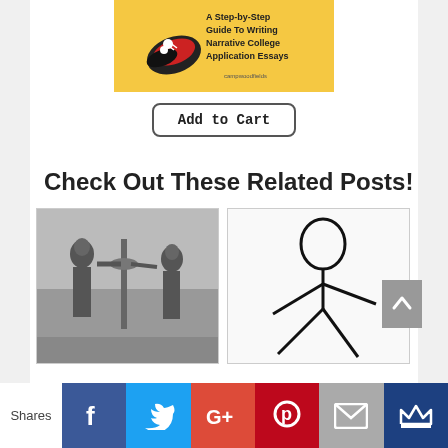[Figure (illustration): Book cover: A Step-by-Step Guide To Writing Narrative College Application Essays, yellow background with illustrated sneakers]
Add to Cart
Check Out These Related Posts!
[Figure (photo): Black and white photo of children at a water fountain or pole]
[Figure (illustration): Simple stick figure drawing on white background]
Shares
[Figure (infographic): Social share bar with Facebook, Twitter, Google+, Pinterest, Email, and crown icon buttons]